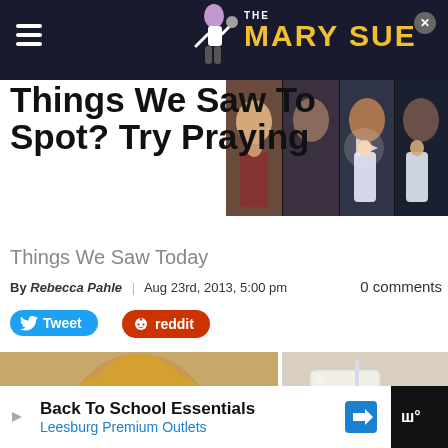THE MARY SUE
Things We Saw Today? Try Praying
Things We Saw Today
By Rebecca Pahle | Aug 23rd, 2013, 5:00 pm    0 comments
[Figure (screenshot): Video thumbnail strip showing cast photos with anime characters overlaid and a play button]
[Figure (photo): David Bowie as Jareth styled as a saint icon painting with halo]
[Figure (photo): Glass jar with layered colored liquid (pink/red and white)]
Back To School Essentials  Leesburg Premium Outlets